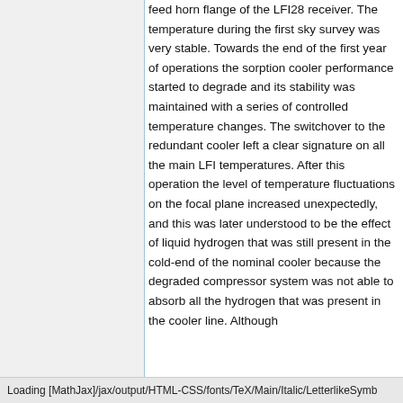feed horn flange of the LFI28 receiver. The temperature during the first sky survey was very stable. Towards the end of the first year of operations the sorption cooler performance started to degrade and its stability was maintained with a series of controlled temperature changes. The switchover to the redundant cooler left a clear signature on all the main LFI temperatures. After this operation the level of temperature fluctuations on the focal plane increased unexpectedly, and this was later understood to be the effect of liquid hydrogen that was still present in the cold-end of the nominal cooler because the degraded compressor system was not able to absorb all the hydrogen that was present in the cooler line. Although
Loading [MathJax]/jax/output/HTML-CSS/fonts/TeX/Main/Italic/LetterlikeSymb